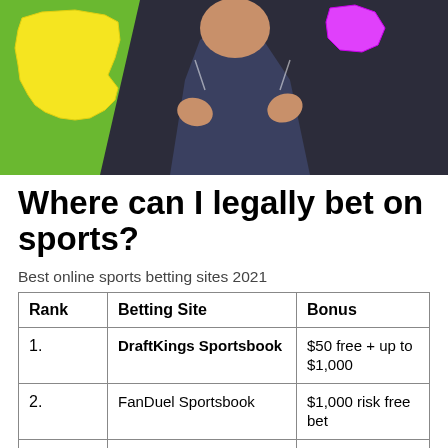[Figure (photo): Thumbnail image showing a man in a camo shirt gesturing, with a yellow Connecticut state outline and a pink shape on a green background]
Where can I legally bet on sports?
Best online sports betting sites 2021
| Rank | Betting Site | Bonus |
| --- | --- | --- |
| 1. | DraftKings Sportsbook | $50 free + up to $1,000 |
| 2. | FanDuel Sportsbook | $1,000 risk free bet |
| 3. | BetMGM Sportsbook | Up to $1,000 deposit bonus |